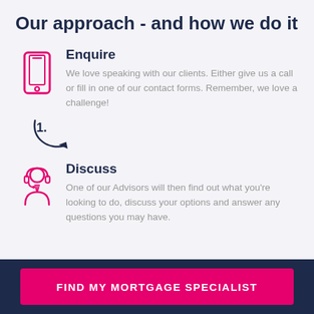Our approach - and how we do it
Enquire
We love speaking with our clients. Either give us a call or fill in one of our contact forms. Remember, we love a challenge!
[Figure (illustration): Pink outline icon of a smartphone]
[Figure (illustration): Dark blue curved arrow pointing down and right with number 1. label]
Discuss
One of our Advisors will then find out what you're looking to do, discuss your options and answer any questions you may have.
[Figure (illustration): Pink outline icon of a person wearing headset (customer advisor)]
FIND MY MORTGAGE SPECIALIST